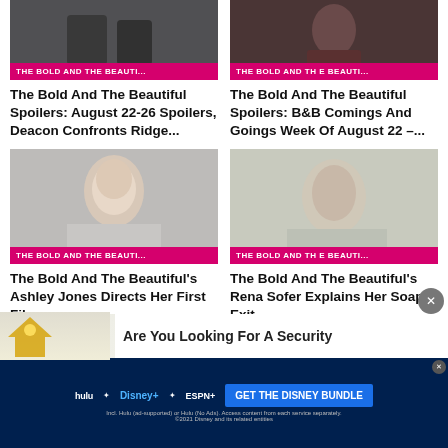[Figure (photo): Top-left card: thumbnail photo of people in dark setting with pink label bar 'THE BOLD AND THE BEAUTI...']
The Bold And The Beautiful Spoilers: August 22-26 Spoilers, Deacon Confronts Ridge...
[Figure (photo): Top-right card: thumbnail photo of person in dark shirt with pink label bar 'THE BOLD AND THE BEAUTI...']
The Bold And The Beautiful Spoilers: B&B Comings And Goings Week Of August 22 –...
[Figure (photo): Bottom-left card: headshot of blonde woman against grey background with pink label bar 'THE BOLD AND THE BEAUTI...']
The Bold And The Beautiful's Ashley Jones Directs Her First Film
[Figure (photo): Bottom-right card: headshot of dark-haired woman smiling with pink label bar 'THE BOLD AND THE BEAUTI...']
The Bold And The Beautiful's Rena Sofer Explains Her Soap Exit
[Figure (screenshot): Advertisement banner: lightbulb image on left, 'Are You Looking For A Security' text on right]
[Figure (screenshot): Disney Bundle advertisement banner with Hulu, Disney+, ESPN+ logos and 'GET THE DISNEY BUNDLE' button]